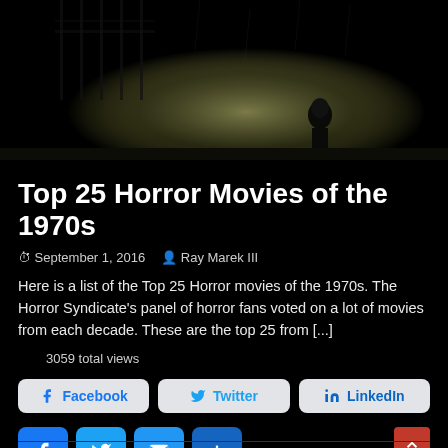[Figure (photo): Dark moody black and white photo showing a silhouetted figure standing in a doorway or gate with rain and dramatic lighting — appears to be a horror movie still]
Top 25 Horror Movies of the 1970s
September 1, 2016   Ray Marek III
Here is a list of the Top 25 Horror movies of the 1970s.  The Horror Syndicate's panel of horror fans voted on a lot of movies from each decade.  These are the top 25 from [...]
3059 total views
[Figure (screenshot): Social share buttons: Facebook, Twitter, LinkedIn (light gray rounded buttons)]
[Figure (screenshot): Small square icon share buttons: Facebook (blue), Twitter (blue), Mail (blue), Plus/More (dark blue)]